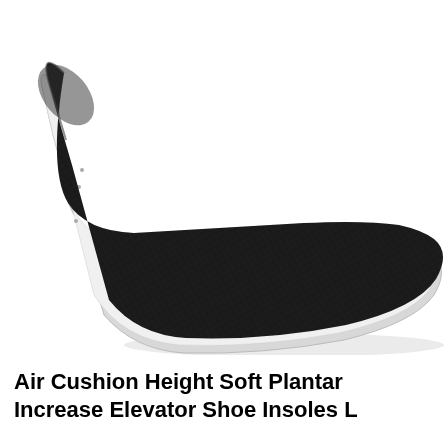[Figure (photo): Close-up photo of a black shoe insole (air cushion height elevator insole) viewed at an angle, showing the dark textured top surface and white/light-colored side edge with small ventilation holes along the heel area. The insole is long and narrow, tapering toward the toe end which appears at the upper left. Background is white.]
Air Cushion Height Soft Plantar Increase Elevator Shoe Insoles L